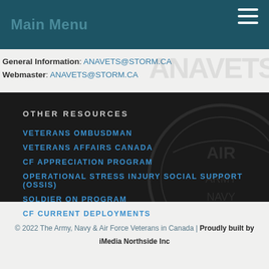Main Menu
General Information: ANAVETS@STORM.CA
Webmaster: ANAVETS@STORM.CA
OTHER RESOURCES
VETERANS OMBUSDMAN
VETERANS AFFAIRS CANADA
CF APPRECIATION PROGRAM
OPERATIONAL STRESS INJURY SOCIAL SUPPORT (OSSIS)
SOLDIER ON PROGRAM
CF CURRENT DEPLOYMENTS
© 2022 The Army, Navy & Air Force Veterans in Canada | Proudly built by iMedia Northside Inc